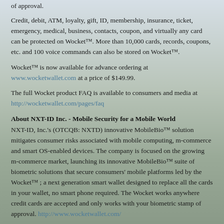of approval.
Credit, debit, ATM, loyalty, gift, ID, membership, insurance, ticket, emergency, medical, business, contacts, coupon, and virtually any card can be protected on Wocket™. More than 10,000 cards, records, coupons, etc. and 100 voice commands can also be stored on Wocket™.
Wocket™ is now available for advance ordering at www.wocketwallet.com at a price of $149.99.
The full Wocket product FAQ is available to consumers and media at http://wocketwallet.com/pages/faq
About NXT-ID Inc. - Mobile Security for a Mobile World
NXT-ID, Inc.'s (OTCQB: NXTD) innovative MobileBio™ solution mitigates consumer risks associated with mobile computing, m-commerce and smart OS-enabled devices. The company is focused on the growing m-commerce market, launching its innovative MobileBio™ suite of biometric solutions that secure consumers' mobile platforms led by the Wocket™ ; a next generation smart wallet designed to replace all the cards in your wallet, no smart phone required. The Wocket works anywhere credit cards are accepted and only works with your biometric stamp of approval. http://www.wocketwallet.com/